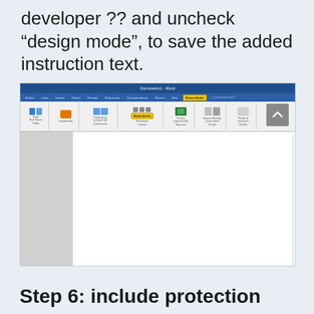developer ?? and uncheck “design mode”, to save the added instruction text.
[Figure (screenshot): Microsoft Word window showing the Developer ribbon tab with 'Modo diseño' (Design Mode) button highlighted in yellow, with a document open showing a sidebar panel on the left.]
Step 6: include protection